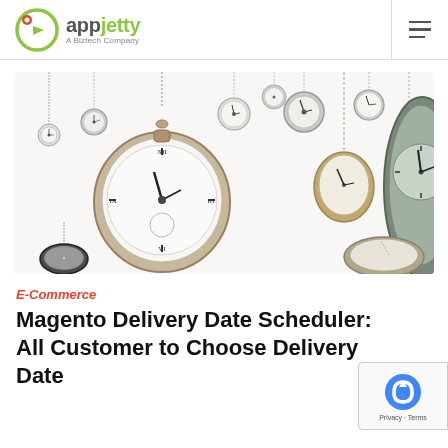AppJelty – A Biztech Company
[Figure (photo): Collection of vintage pocket watches on chains hanging against a white background]
E-Commerce
Magento Delivery Date Scheduler: Allow Customer to Choose Delivery Date